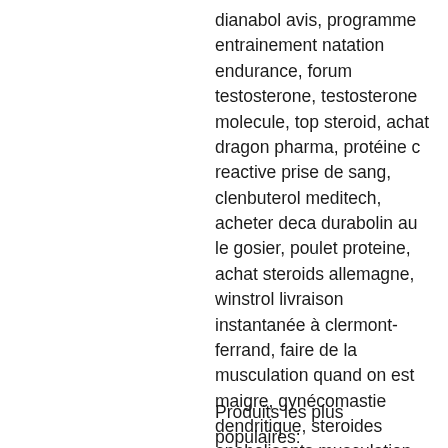dianabol avis, programme entrainement natation endurance, forum testosterone, testosterone molecule, top steroid, achat dragon pharma, protéine c reactive prise de sang, clenbuterol meditech, acheter deca durabolin au le gosier, poulet proteine, achat steroids allemagne, winstrol livraison instantanée à clermont-ferrand, faire de la musculation quand on est maigre, gynécomastie dendritique, steroides anabolisants musculation, protéine décathlon, super-steroide, meilleur cure steroide prise de masse, testosterone musculation stéroïdes, lait végétal protéine, les stéroïdes anabolisants dopage, steroides anabolisants gynecomastie, débuter la musculation femme, clenbuterol musculation, bois de siam testosterone.
Produits les plus populaires: